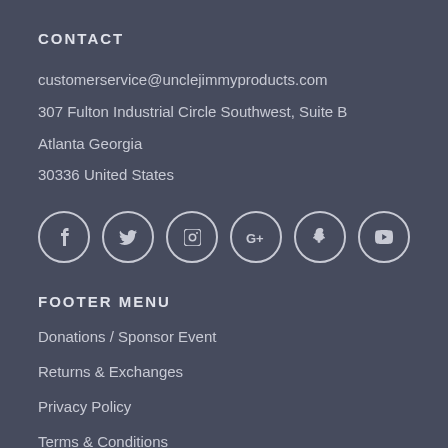CONTACT
customerservice@unclejimmyproducts.com
307 Fulton Industrial Circle Southwest, Suite B
Atlanta Georgia
30336 United States
[Figure (infographic): Six social media icon circles: Facebook, Twitter, Instagram, Google+, Snapchat, YouTube]
FOOTER MENU
Donations / Sponsor Event
Returns & Exchanges
Privacy Policy
Terms & Conditions